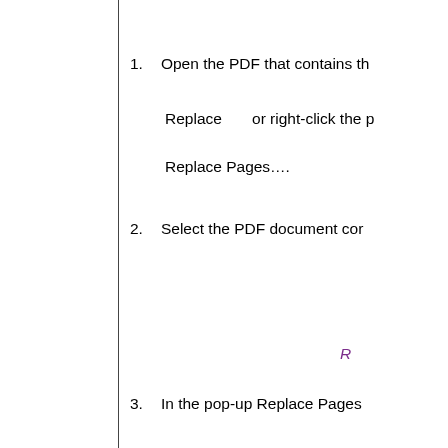1.   Open the PDF that contains th
Replace      or right-click the p
Replace Pages....
2.   Select the PDF document cor
R
3.   In the pop-up Replace Pages